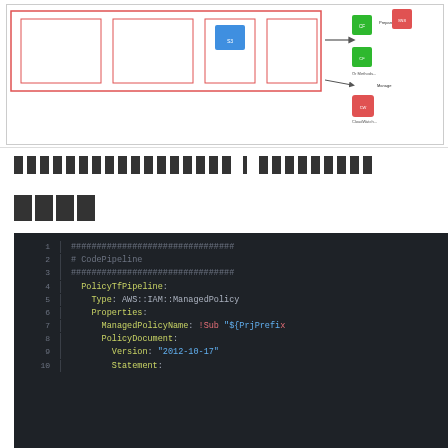[Figure (engineering-diagram): AWS architecture diagram showing CodePipeline flow with various AWS service icons connected by arrows, including S3, Lambda, CloudFormation, SNS, and CloudWatch icons inside red-bordered boxes]
██████████████████ █████████
████
1  ################################
2  # CodePipeline
3  ################################
4      PolicyTfPipeline:
5          Type: AWS::IAM::ManagedPolicy
6          Properties:
7              ManagedPolicyName: !Sub "${PrjPrefix
8              PolicyDocument:
9                  Version: "2012-10-17"
10                 Statement: